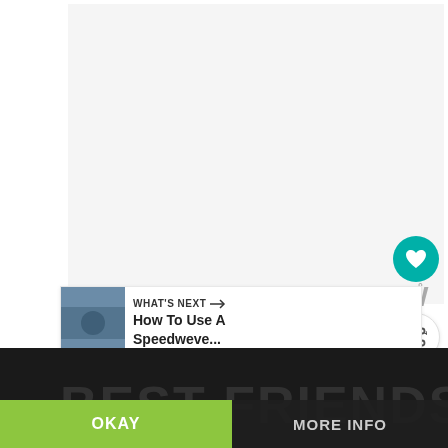[Figure (screenshot): White/light gray content area, likely a video or article page with a watermark logo 'W°' in gray at bottom right]
[Figure (infographic): Teal circular heart/like button with count '2' below it, and a white circular share button]
2
[Figure (screenshot): WHAT'S NEXT → How To Use A Speedweve... with thumbnail image]
This website uses cookies
OKAY
MORE INFO